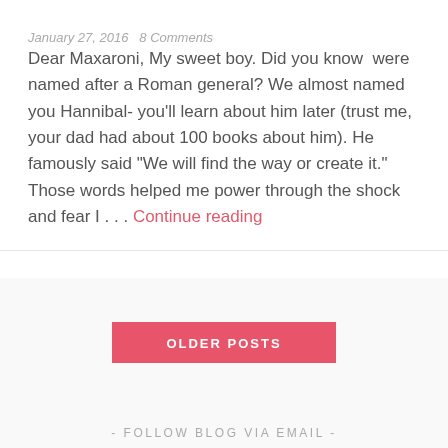January 27, 2016   8 Comments
Dear Maxaroni, My sweet boy. Did you know  were named after a Roman general? We almost named you Hannibal- you'll learn about him later (trust me, your dad had about 100 books about him). He famously said "We will find the way or create it." Those words helped me power through the shock and fear I . . . Continue reading
OLDER POSTS
- FOLLOW BLOG VIA EMAIL -